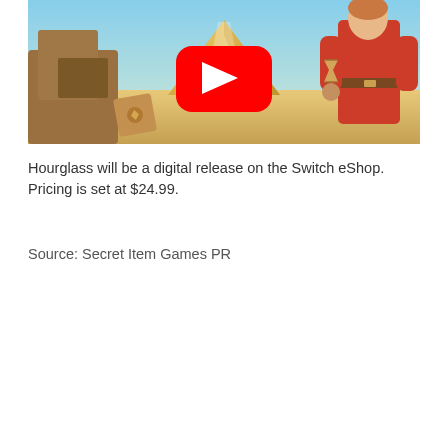[Figure (screenshot): Video thumbnail showing a game scene with a pyramid, sandy desert landscape, animated character in red outfit holding an hourglass, and YouTube play button overlay in the center.]
Hourglass will be a digital release on the Switch eShop. Pricing is set at $24.99.
Source: Secret Item Games PR